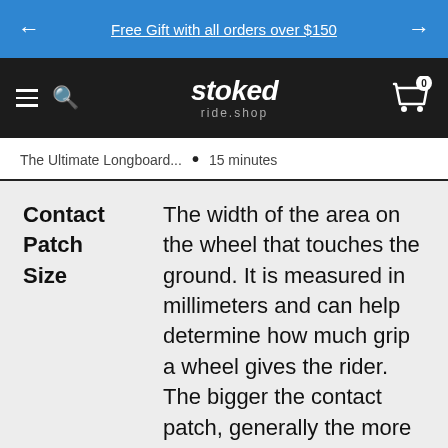Free Gift with all orders over $150
[Figure (logo): Stoked ride.shop logo in white on dark navbar with hamburger menu, search icon, and cart icon showing 0 items]
The Ultimate Longboard... • 15 minutes
| Contact Patch Size | The width of the area on the wheel that touches the ground. It is measured in millimeters and can help determine how much grip a wheel gives the rider. The bigger the contact patch, generally the more grippy the wheel will be. |